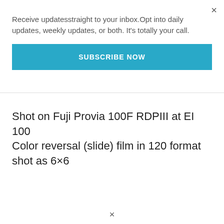×
Receive updatesstraight to your inbox.Opt into daily updates, weekly updates, or both. It's totally your call.
SUBSCRIBE NOW
Shot on Fuji Provia 100F RDPIII at EI 100
Color reversal (slide) film in 120 format shot as 6×6
×